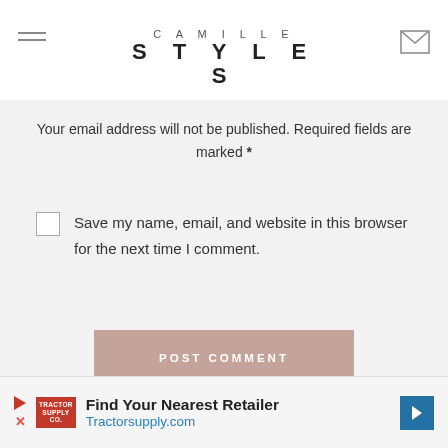CAMILLE STYLES
Your email address will not be published. Required fields are marked *
Save my name, email, and website in this browser for the next time I comment.
POST COMMENT
COMMENTS (24)
[Figure (screenshot): Tractor Supply advertisement banner: Find Your Nearest Retailer - Tractorsupply.com]